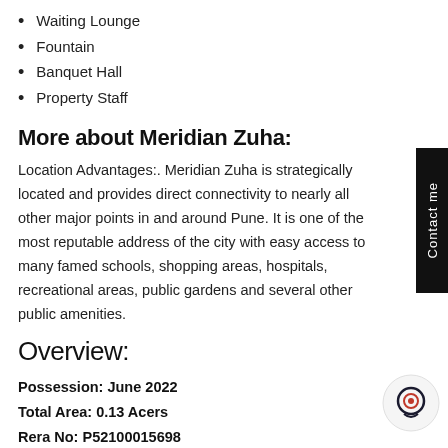Waiting Lounge
Fountain
Banquet Hall
Property Staff
More about Meridian Zuha:
Location Advantages:. Meridian Zuha is strategically located and provides direct connectivity to nearly all other major points in and around Pune. It is one of the most reputable address of the city with easy access to many famed schools, shopping areas, hospitals, recreational areas, public gardens and several other public amenities.
Overview:
Possession: June 2022
Total Area: 0.13 Acers
Rera No: P52100015698
Launch Date: Aug 2018
Total Units: 56